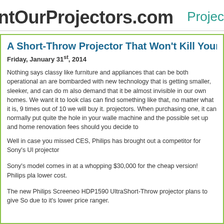ntOurProjectors.com  Projec
A Short-Throw Projector That Won't Kill Your Walle
Friday, January 31st, 2014
Nothing says classy like furniture and appliances that can be both operational and are bombarded with new technology that is getting smaller, sleeker, and can do m also demand that it be almost invisible in our own homes. We want it to look clas can find something like that, no matter what it is, 9 times out of 10 we will buy it. projectors. When purchasing one, it can normally put quite the hole in your wallet machine and the possible set up and home renovation fees should you decide to
Well in case you missed CES, Philips has brought out a competitor for Sony's Ul projector
Sony's model comes in at a whopping $30,000 for the cheap version! Philips pla lower cost.
The new Philips Screeneo HDP1590 UltraShort-Throw projector plans to give So due to it's lower price ranger.